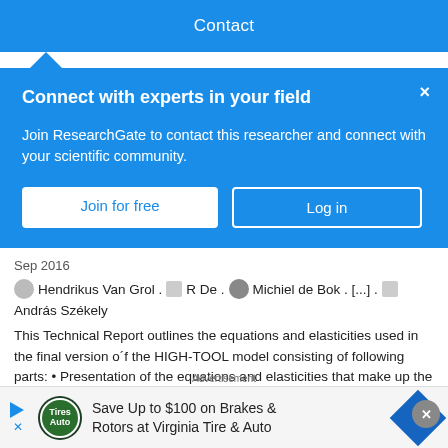Contact
Connect with experts in your field
Join ResearchGate to contact this researcher and connect with your scientific community.
Sep 2016
Hendrikus Van Grol · R De · Michiel de Bok · [...] · András Székely
This Technical Report outlines the equations and elasticities used in the final version o´f the HIGH-TOOL model consisting of following parts: • Presentation of the equations and elasticities that make up the HIGH-TOOL model; • Provision of reference elasticities for the validation of the HIGH-TOOL model; • Provision of elasticities to translate Tr...
[Figure (screenshot): Advertisement banner: Save Up to $100 on Brakes & Rotors at Virginia Tire & Auto]